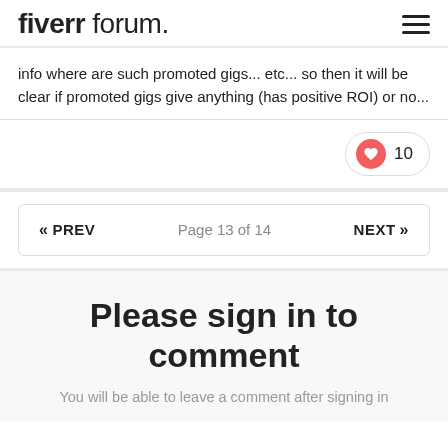fiverr forum.
info where are such promoted gigs... etc... so then it will be clear if promoted gigs give anything (has positive ROI) or no...
10
« PREV   Page 13 of 14   NEXT »
Please sign in to comment
You will be able to leave a comment after signing in